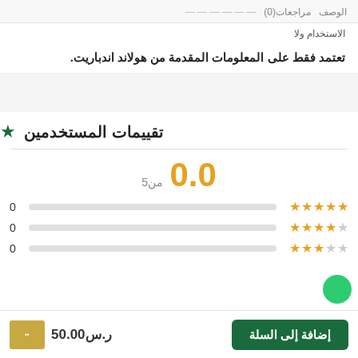الوصف  مراجعات(0)
الاستخدام ولا
تعتمد فقط على المعلومات المقدمة من هولاند اندباريت.
تقييمات المستخدمين
0.0 من 5
5 نجوم: 0
4 نجوم: 0
3 نجوم: 0
إضافة إلى السلة
ر.س50.00